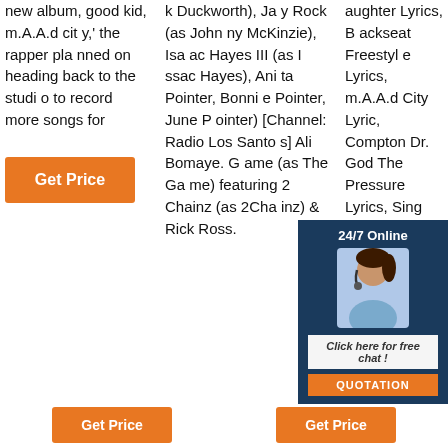new album, good kid, m.A.A.d city,' the rapper planned on heading back to the studio to record more songs for
Get Price
k Duckworth), Jay Rock (as Johnny McKinzie), Isaac Hayes III (as Isaac Hayes), Anita Pointer, Bonnie Pointer, June Pointer) [Channel: Radio Los Santos] Ali Bomaye. Game (as The Game) featuring 2 Chainz (as 2Chainz) & Rick Ross.
aughter Lyrics, Backseat Freestyle Lyrics, m.A.A.d City Lyrics, Compton Lyrics, Good Dr. God The Pressure Lyrics, Sing About Me, I'm Dying of ...
[Figure (photo): Chat widget with woman wearing headset, 24/7 Online label, Click here for free chat text, and QUOTATION button]
Get Price
Get Price